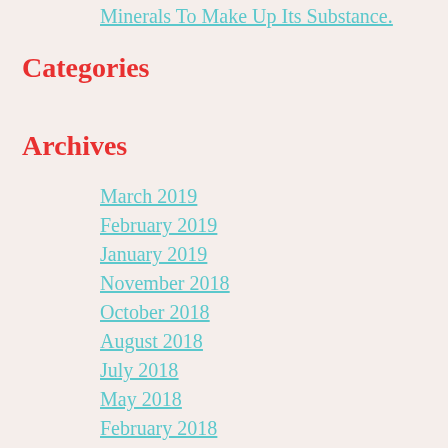Minerals To Make Up Its Substance.
Categories
Archives
March 2019
February 2019
January 2019
November 2018
October 2018
August 2018
July 2018
May 2018
February 2018
December 2017
September 2017
July 2017
June 2017
May 2017